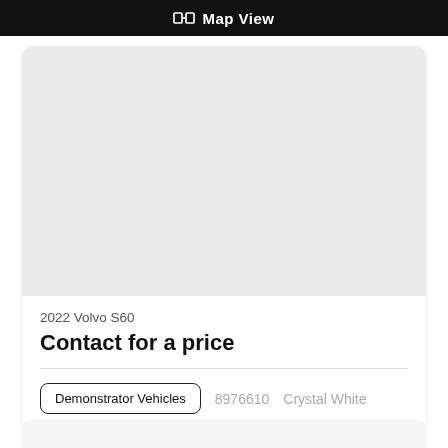Map View
[Figure (screenshot): Gray placeholder image area for a vehicle listing card]
2022 Volvo S60
Contact for a price
Demonstrator Vehicles   8976610   Crystal White